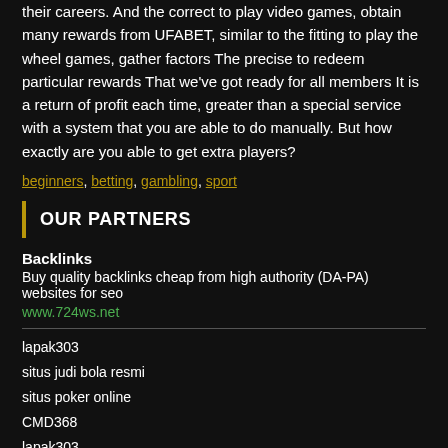their careers. And the correct to play video games, obtain many rewards from UFABET, similar to the fitting to play the wheel games, gather factors The precise to redeem particular rewards That we've got ready for all members It is a return of profit each time, greater than a special service with a system that you are able to do manually. But how exactly are you able to get extra players?
beginners, betting, gambling, sport
OUR PARTNERS
Backlinks
Buy quality backlinks cheap from high authority (DA-PA) websites for seo
www.724ws.net
lapak303
situs judi bola resmi
situs poker online
CMD368
lapak303
bandarq
สมัคร CMD368
judi online
เดิม
Agen Dominoqq